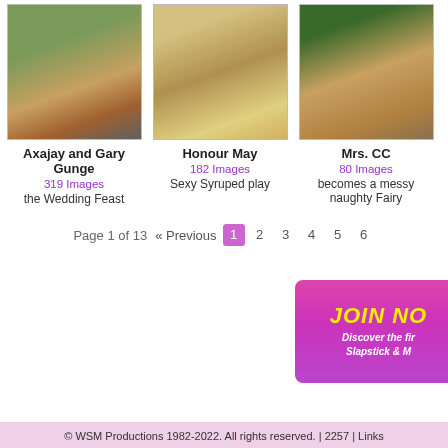[Figure (photo): Thumbnail photo - Axajay and Gary Gunge]
[Figure (photo): Thumbnail photo - Honour May]
[Figure (photo): Thumbnail photo - Mrs. CC]
Axajay and Gary Gunge
319 Images
the Wedding Feast
Honour May
182 Images
Sexy Syruped play
Mrs. CC
80 Images
becomes a messy naughty Fairy
Page 1 of 13   « Previous  1  2  3  4  5  6
[Figure (illustration): JOIN NOW banner - Discover the first Slapstick & M...]
© WSM Productions 1982-2022. All rights reserved. | 2257 | Links